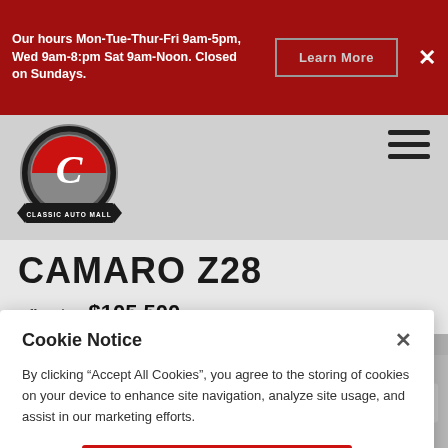Our hours Mon-Tue-Thur-Fri 9am-5pm, Wed 9am-8:pm Sat 9am-Noon. Closed on Sundays.
[Figure (logo): Classic Auto Mall circular logo with script C and red ribbon banner]
CAMARO Z28
Offered At $105,500
[Figure (photo): Red Camaro Z28 car photograph with left and right navigation arrows]
Cookie Notice
By clicking "Accept All Cookies", you agree to the storing of cookies on your device to enhance site navigation, analyze site usage, and assist in our marketing efforts.